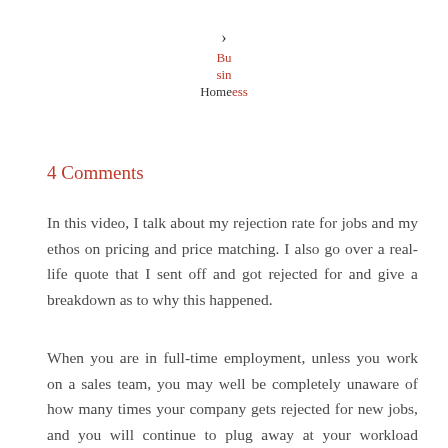> Business Home
4 Comments
In this video, I talk about my rejection rate for jobs and my ethos on pricing and price matching. I also go over a real-life quote that I sent off and got rejected for and give a breakdown as to why this happened.
When you are in full-time employment, unless you work on a sales team, you may well be completely unaware of how many times your company gets rejected for new jobs, and you will continue to plug away at your workload without any